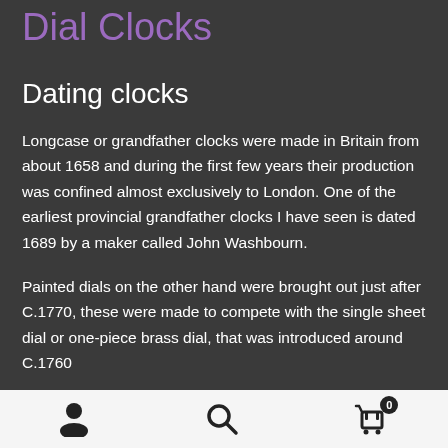Dial Clocks
Dating clocks
Longcase or grandfather clocks were made in Britain from about 1658 and during the first few years their production was confined almost exclusively to London. One of the earliest provincial grandfather clocks I have seen is dated 1689 by a maker called John Washbourn.
Painted dials on the other hand were brought out just after C.1770, these were made to compete with the single sheet dial or one-piece brass dial, that was introduced around C.1760
user icon | search icon | cart icon (0)